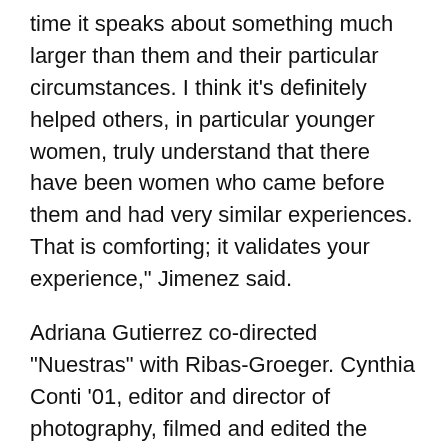time it speaks about something much larger than them and their particular circumstances. I think it's definitely helped others, in particular younger women, truly understand that there have been women who came before them and had very similar experiences. That is comforting; it validates your experience," Jimenez said.
Adriana Gutierrez co-directed "Nuestras" with Ribas-Groeger. Cynthia Conti '01, editor and director of photography, filmed and edited the interviews. Isabelle de Courtivron, professor in the foreign languages and literature section, and Nancy Lowe, administrative officer, provided support.
The project was also supported by the Center for Bilingual/Bicultural Studies, the dean for